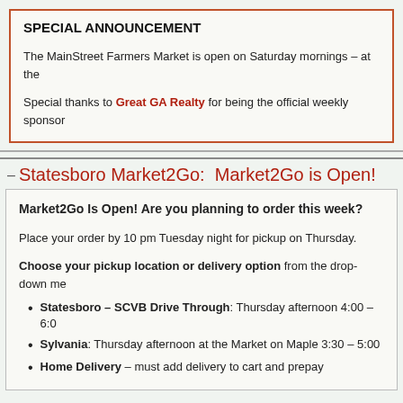SPECIAL ANNOUNCEMENT
The MainStreet Farmers Market is open on Saturday mornings – at the
Special thanks to Great GA Realty for being the official weekly sponsor
Statesboro Market2Go:  Market2Go is Open!
Market2Go Is Open! Are you planning to order this week?
Place your order by 10 pm Tuesday night for pickup on Thursday.
Choose your pickup location or delivery option from the drop-down me
Statesboro – SCVB Drive Through: Thursday afternoon 4:00 – 6:00
Sylvania: Thursday afternoon at the Market on Maple 3:30 – 5:00
Home Delivery – must add delivery to cart and prepay